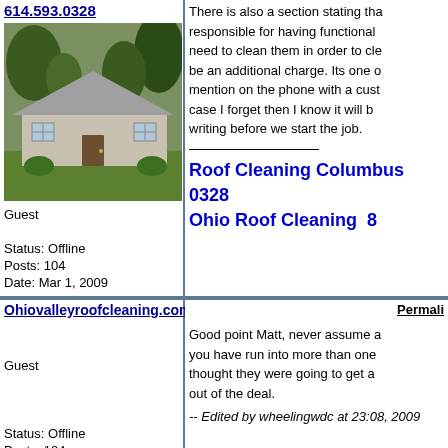614.593.0328
[Figure (photo): Photo of a single-story house with trees in background]
Guest
Status: Offline
Posts: 104
Date: Mar 1, 2009
There is also a section stating that responsible for having functional need to clean them in order to cle be an additional charge. Its one of mention on the phone with a custo case I forget then I know it will b writing before we start the job.
Roof Cleaning Columbus 0328
Ohio Roof Cleaning 8
Ohiovalleyroofcleaning.com
Guest
Status: Offline
Posts: 124
Date: Mar 2, 2009
Permalink
Good point Matt, never assume a you have run into more than one thought they were going to get a out of the deal.
-- Edited by wheelingwdc at 23:08, 2009